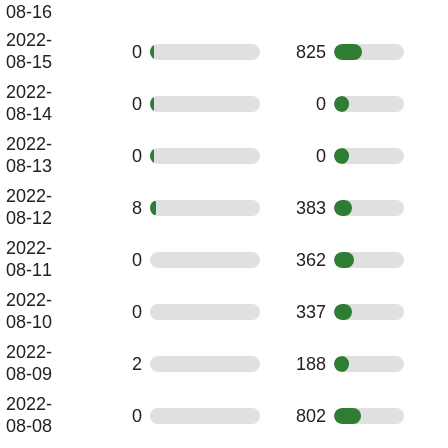[Figure (bar-chart): Horizontal progress-bar style chart showing two metrics per date row. Dates from 2022-08-08 to 2022-08-15 (partial top row cut off). Left metric values: 0, 0, 0, 8, 0, 0, 2, 0. Right metric values: 825, 0, 0, 383, 362, 337, 188, 802.]